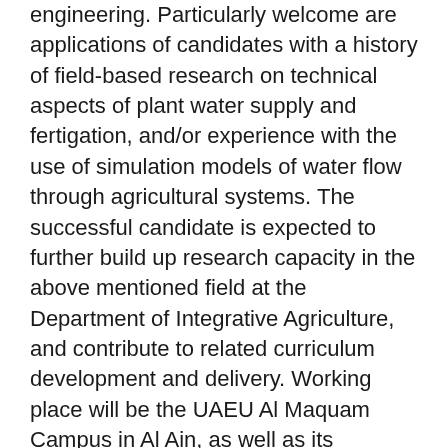engineering. Particularly welcome are applications of candidates with a history of field-based research on technical aspects of plant water supply and fertigation, and/or experience with the use of simulation models of water flow through agricultural systems. The successful candidate is expected to further build up research capacity in the above mentioned field at the Department of Integrative Agriculture, and contribute to related curriculum development and delivery. Working place will be the UAEU Al Maquam Campus in Al Ain, as well as its agricultural experimental stations in Al Foah and Fallaj Hazaa.
The Department of Integrative Agriculture offers a supportive and highly